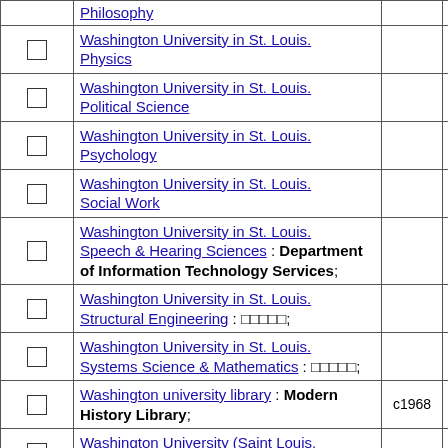|  | Name | Year | Count |
| --- | --- | --- | --- |
| ☐ | Philosophy |  |  |
| ☐ | Washington University in St. Louis. Physics |  | 2 |
| ☐ | Washington University in St. Louis. Political Science |  | 3 |
| ☐ | Washington University in St. Louis. Psychology |  | 5 |
| ☐ | Washington University in St. Louis. Social Work |  | 5 |
| ☐ | Washington University in St. Louis. Speech & Hearing Sciences : Department of Information Technology Services; |  | 1 |
| ☐ | Washington University in St. Louis. Structural Engineering : □□□□□; |  | 1 |
| ☐ | Washington University in St. Louis. Systems Science & Mathematics : □□□□□; |  | 1 |
| ☐ | Washington university library : Modern History Library; | c1968 | 1 |
| ☐ | Washington University (Saint Louis, Mo.) |  | 3 |
| ☐ | Washington University (Saint Louis, | 1972 |  |